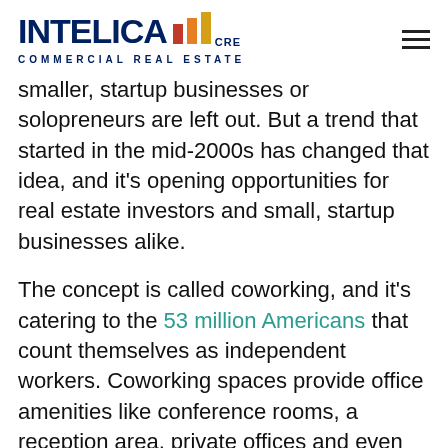INTELICA CRE COMMERCIAL REAL ESTATE
smaller, startup businesses or solopreneurs are left out. But a trend that started in the mid-2000s has changed that idea, and it's opening opportunities for real estate investors and small, startup businesses alike.
The concept is called coworking, and it's catering to the 53 million Americans that count themselves as independent workers. Coworking spaces provide office amenities like conference rooms, a reception area, private offices and even lunchrooms to the freelance professionals, contract workers, temps and